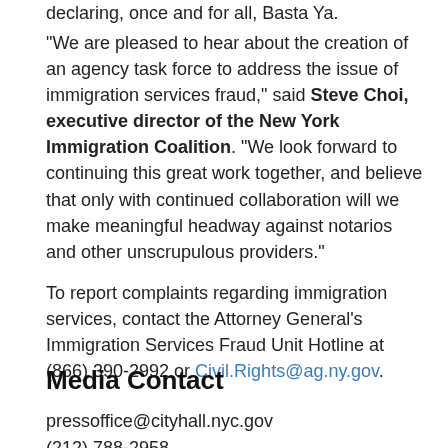declaring, once and for all, Basta Ya.
"We are pleased to hear about the creation of an agency task force to address the issue of immigration services fraud," said Steve Choi, executive director of the New York Immigration Coalition. "We look forward to continuing this great work together, and believe that only with continued collaboration will we make meaningful headway against notarios and other unscrupulous providers."
To report complaints regarding immigration services, contact the Attorney General's Immigration Services Fraud Unit Hotline at (866) 390-2992 or Civil.Rights@ag.ny.gov.
Media Contact
pressoffice@cityhall.nyc.gov
(212) 788-2958